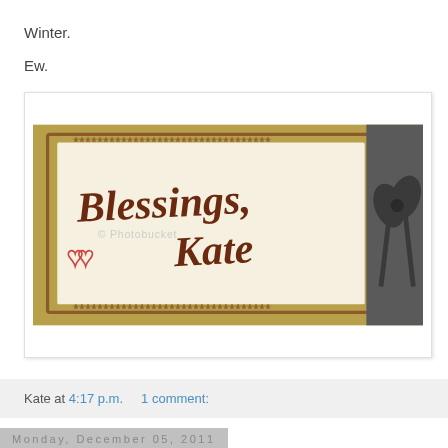Winter.
Ew.
[Figure (photo): A decorative sign with a gold ornate border reading 'Blessings, Kate' with two hearts, next to a dark ribbon bow, with a Photobucket watermark overlay.]
Kate at 4:17 p.m.    1 comment:
Monday, December 05, 2011
Purse Sisters
Remember when I told you that I bought this beauty before heading to Rochester NY last month?